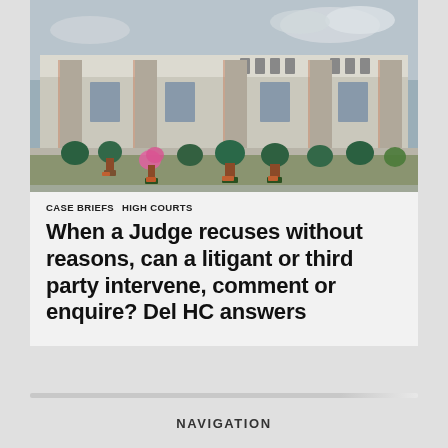[Figure (photo): Photograph of a multi-storey court building with concrete pillars and ornamental plants/shrubs in front. Overcast sky in background.]
CASE BRIEFS  HIGH COURTS
When a Judge recuses without reasons, can a litigant or third party intervene, comment or enquire? Del HC answers
NAVIGATION